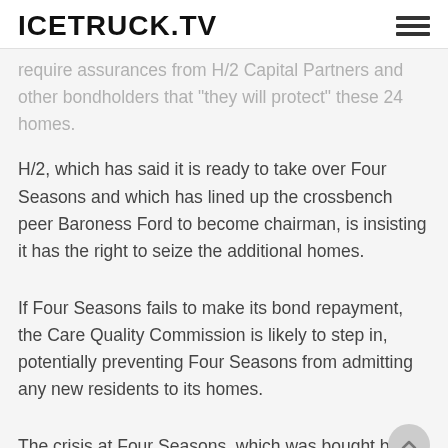ICETRUCK.TV
require assurances from H/2 Capital Partners and other bondholders that "they will protect" these 24 homes.
H/2, which has said it is ready to take over Four Seasons and which has lined up the crossbench peer Baroness Ford to become chairman, is insisting it has the right to seize the additional homes.
If Four Seasons fails to make its bond repayment, the Care Quality Commission is likely to step in, potentially preventing Four Seasons from admitting any new residents to its homes.
The crisis at Four Seasons, which was bought by Terra